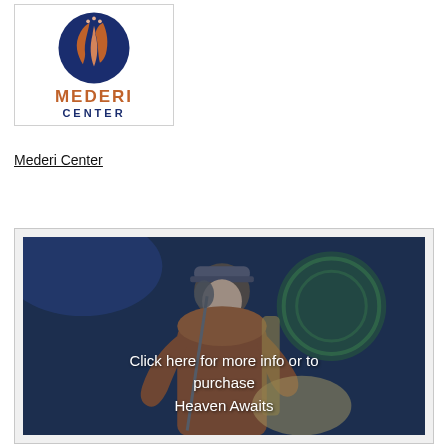[Figure (logo): Mederi Center logo: circular emblem with navy blue background featuring stylized leaf/flame shapes in copper/bronze tones with dots, above the text MEDERI in copper and CENTER in navy blue]
Mederi Center
[Figure (photo): Photo of a musician playing bass guitar on stage, wearing a cap and orange/brown clothing, with a microphone stand visible and a green circular logo in the background. White text overlay reads: Click here for more info or to purchase Heaven Awaits]